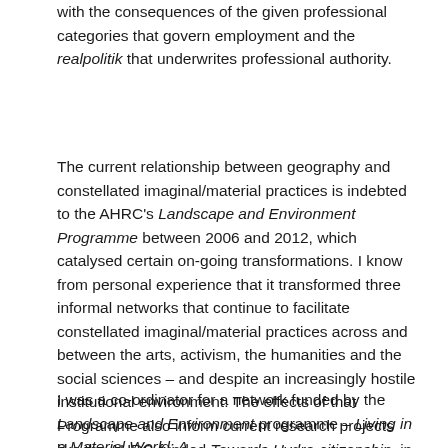with the consequences of the given professional categories that govern employment and the realpolitik that underwrites professional authority.
The current relationship between geography and constellated imaginal/material practices is indebted to the AHRC's Landscape and Environment Programme between 2006 and 2012, which catalysed certain on-going transformations. I know from personal experience that it transformed three informal networks that continue to facilitate constellated imaginal/material practices across and between the arts, activism, the humanities and the social sciences – and despite an increasingly hostile institutional environment. The effects of that Programme also inform current research projects like the AHRC-funded Towards Hydro-citizenship, in which I'm involved and that informs this presentation.
I was a co-ordinator for a network funded by the Landscape and Environment programme – Living in a Material World: A